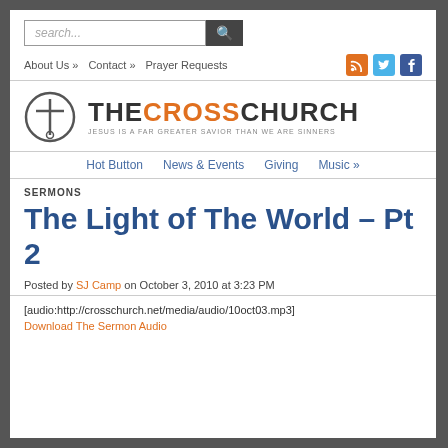search...
About Us » | Contact » | Prayer Requests
[Figure (logo): The Cross Church logo with circle cross icon and text THECROSSCHURCH, tagline: JESUS IS A FAR GREATER SAVIOR THAN WE ARE SINNERS]
Hot Button | News & Events | Giving | Music »
SERMONS
The Light of The World – Pt 2
Posted by SJ Camp on October 3, 2010 at 3:23 PM
[audio:http://crosschurch.net/media/audio/10oct03.mp3]
Download The Sermon Audio